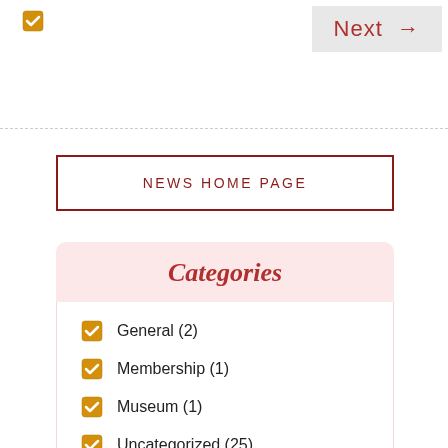[Figure (other): Orange/gold checked checkbox icon in top-left corner]
[Figure (other): Next button with right arrow, light gray background, red text]
NEWS HOME PAGE
Categories
General (2)
Membership (1)
Museum (1)
Uncategorized (25)